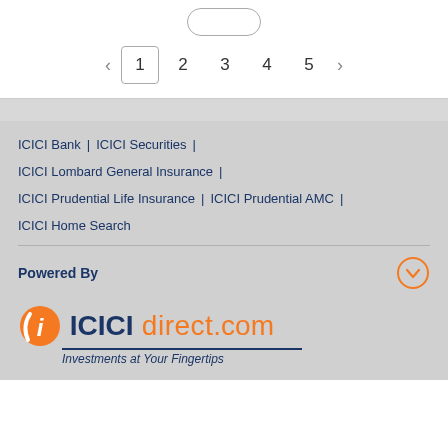[Figure (screenshot): Pagination controls showing page 1 active with a bordered box, pages 2, 3, 4, 5, and left/right arrow navigation on white background panel]
ICICI Bank | ICICI Securities | ICICI Lombard General Insurance | ICICI Prudential Life Insurance | ICICI Prudential AMC | ICICI Home Search
Powered By
[Figure (logo): ICICIdirect.com logo with orange swirl i icon, ICICI in dark blue bold, direct.com in orange, and tagline 'Investments at Your Fingertips' in dark blue italic]